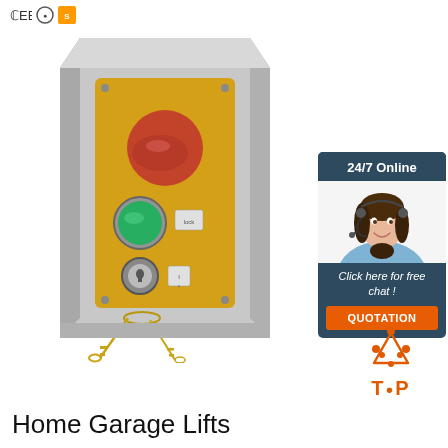[Figure (photo): Certification icons: CE, RoHS circle, and gold square badge in top-left corner]
[Figure (photo): Metal control box with yellow panel featuring a red button, green button with key switch, and keys hanging from bottom, on a stainless steel enclosure]
[Figure (infographic): 24/7 Online chat widget with woman wearing headset, 'Click here for free chat!' text, and orange QUOTATION button]
[Figure (logo): Orange triangle/arrow TOP logo]
Home Garage Lifts